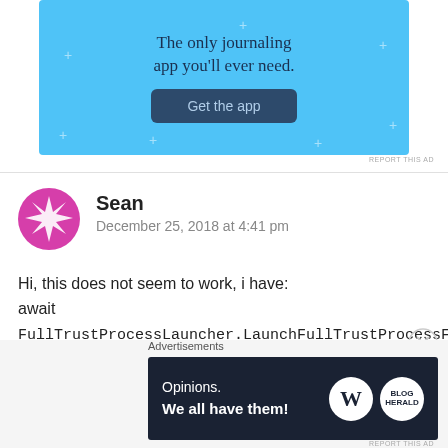[Figure (screenshot): Light blue advertisement banner with text 'The only journaling app you'll ever need.' and a dark blue 'Get the app' button]
REPORT THIS AD
Sean
December 25, 2018 at 4:41 pm
Hi, this does not seem to work, i have:
await FullTrustProcessLauncher.LaunchFullTrustProcessForCurrentAppAsync("Parameters");
and this trusted console app took to launch a
[Figure (screenshot): Dark navy advertisement banner with text 'Opinions. We all have them!' and WordPress and another logo]
Advertisements
REPORT THIS AD